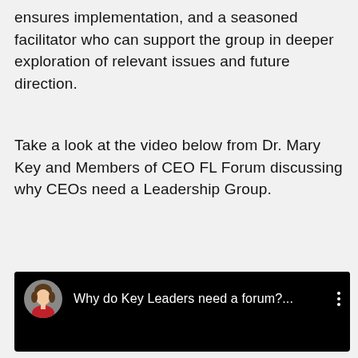ensures implementation, and a seasoned facilitator who can support the group in deeper exploration of relevant issues and future direction.
Take a look at the video below from Dr. Mary Key and Members of CEO FL Forum discussing why CEOs need a Leadership Group.
[Figure (screenshot): A video thumbnail/player showing a black background with a circular avatar photo of a woman with short brown hair wearing a red top, followed by the text 'Why do Key Leaders need a forum?...' and a three-dot menu icon.]